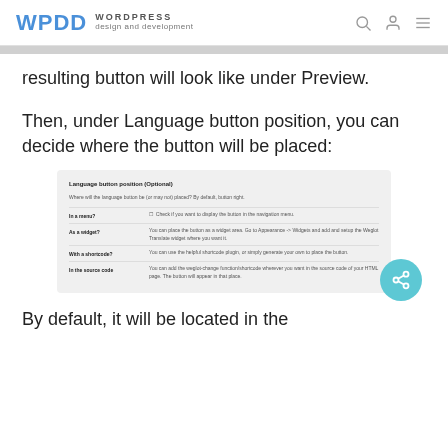WPDD WORDPRESS design and development
resulting button will look like under Preview.
Then, under Language button position, you can decide where the button will be placed:
[Figure (screenshot): Screenshot of the Language button position (Optional) settings panel showing options: In a menu, As a widget, With a shortcode, In the source code]
By default, it will be located in the